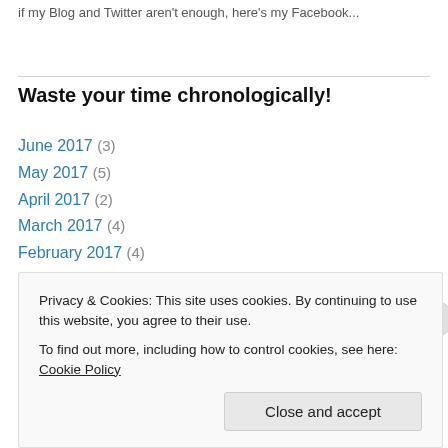if my Blog and Twitter aren't enough, here's my Facebook...
Waste your time chronologically!
June 2017 (3)
May 2017 (5)
April 2017 (2)
March 2017 (4)
February 2017 (4)
January 2017 (6)
December 2016 (10)
November 2016 (8)
Privacy & Cookies: This site uses cookies. By continuing to use this website, you agree to their use. To find out more, including how to control cookies, see here: Cookie Policy
Close and accept